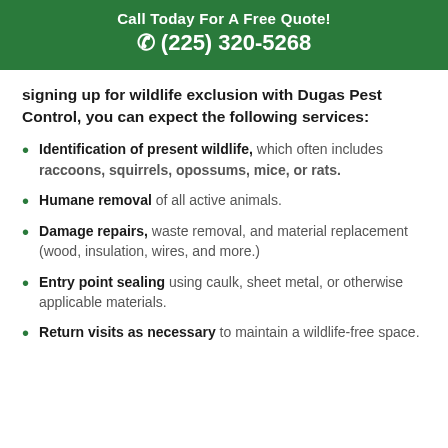Call Today For A Free Quote!
☎ (225) 320-5268
signing up for wildlife exclusion with Dugas Pest Control, you can expect the following services:
Identification of present wildlife, which often includes raccoons, squirrels, opossums, mice, or rats.
Humane removal of all active animals.
Damage repairs, waste removal, and material replacement (wood, insulation, wires, and more.)
Entry point sealing using caulk, sheet metal, or otherwise applicable materials.
Return visits as necessary to maintain a wildlife-free space.